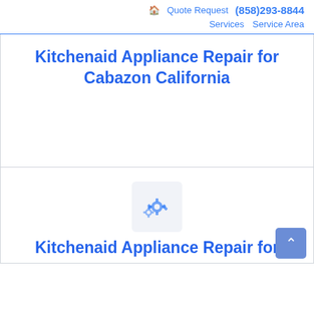🏠 Quote Request (858)293-8844 Services Service Area
Kitchenaid Appliance Repair for Cabazon California
[Figure (illustration): Gear/settings icon in a light grey rounded square box]
Kitchenaid Appliance Repair for